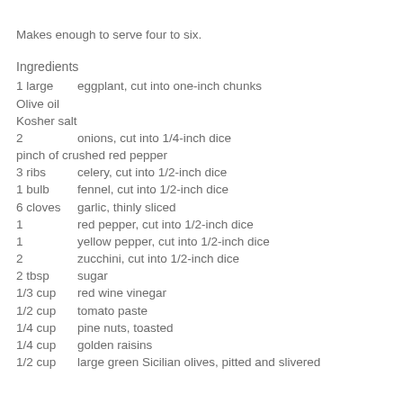Makes enough to serve four to six.
Ingredients
1 large    eggplant, cut into one-inch chunks
Olive oil
Kosher salt
2           onions, cut into 1/4-inch dice
pinch of crushed red pepper
3 ribs      celery, cut into 1/2-inch dice
1 bulb      fennel, cut into 1/2-inch dice
6 cloves   garlic, thinly sliced
1           red pepper, cut into 1/2-inch dice
1           yellow pepper, cut into 1/2-inch dice
2           zucchini, cut into 1/2-inch dice
2 tbsp     sugar
1/3 cup   red wine vinegar
1/2 cup   tomato paste
1/4 cup   pine nuts, toasted
1/4 cup   golden raisins
1/2 cup   large green Sicilian olives, pitted and slivered